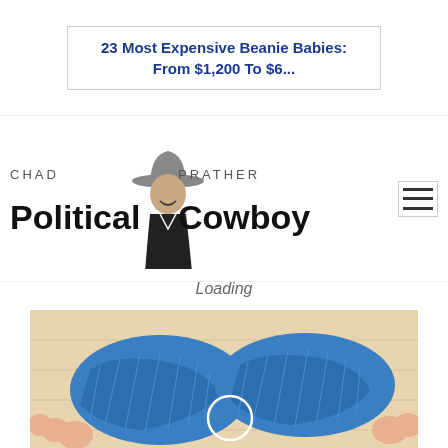[Figure (screenshot): Ad banner with text: 23 Most Expensive Beanie Babies: From $1,200 To $6...]
23 Most Expensive Beanie Babies: From $1,200 To $6...
[Figure (logo): Chad Prather Political Cowboy logo with photo of man in cowboy hat]
Loading
[Figure (photo): Close-up photo of hands holding blue fabric slippers/shoes on a wooden surface]